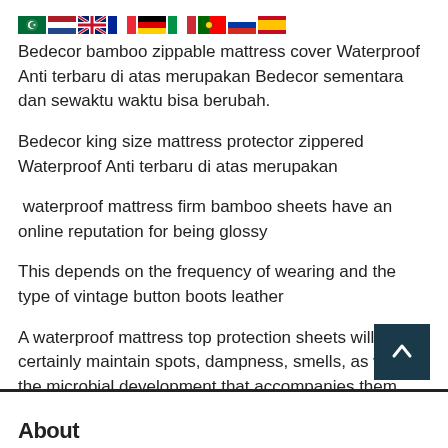[Figure (illustration): Row of country flag icons: Saudi Arabia, Netherlands, UK, France, Germany, Italy, Portugal, Russia, Spain]
Bedecor bamboo zippable mattress cover Waterproof Anti terbaru di atas merupakan Bedecor sementara dan sewaktu waktu bisa berubah.
Bedecor king size mattress protector zippered Waterproof Anti terbaru di atas merupakan
waterproof mattress firm bamboo sheets have an online reputation for being glossy
This depends on the frequency of wearing and the type of vintage button boots leather
A waterproof mattress top protection sheets will certainly maintain spots, dampness, smells, as well as the microbial development that accompanies them away.